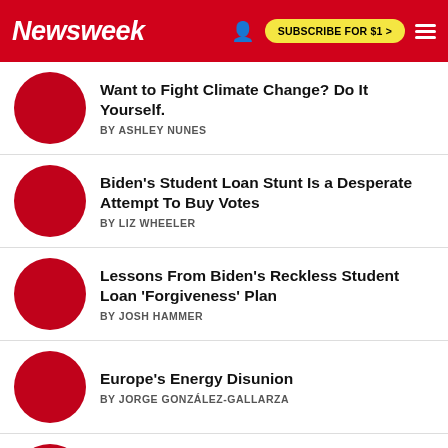Newsweek | SUBSCRIBE FOR $1 >
Want to Fight Climate Change? Do It Yourself.
BY ASHLEY NUNES
Biden's Student Loan Stunt Is a Desperate Attempt To Buy Votes
BY LIZ WHEELER
Lessons From Biden's Reckless Student Loan 'Forgiveness' Plan
BY JOSH HAMMER
Europe's Energy Disunion
BY JORGE GONZÁLEZ-GALLARZA
Florida's Primary Elections Prove the State Is Redder Than Ever